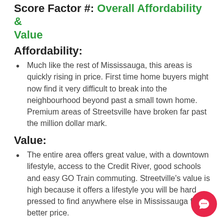Score Factor #: Overall Affordability & Value
Affordability:
Much like the rest of Mississauga, this areas is quickly rising in price. First time home buyers might now find it very difficult to break into the neighbourhood beyond past a small town home. Premium areas of Streetsville have broken far past the million dollar mark.
Value:
The entire area offers great value, with a downtown lifestyle, access to the Credit River, good schools and easy GO Train commuting. Streetville’s value is high because it offers a lifestyle you will be hard pressed to find anywhere else in Mississauga for a better price.